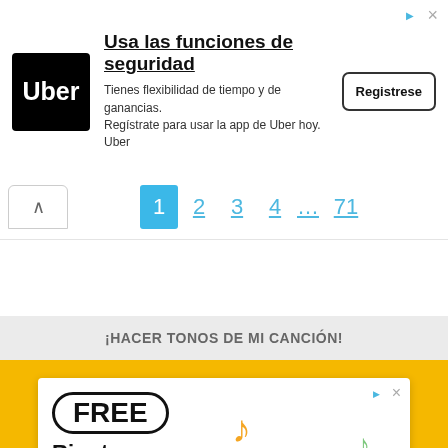[Figure (screenshot): Uber advertisement banner with logo, text 'Usa las funciones de seguridad', body text, and Registrese button]
Usa las funciones de seguridad
Tienes flexibilidad de tiempo y de ganancias. Regístrate para usar la app de Uber hoy. Uber
1 2 3 4 ... 71
¡HACER TONOS DE MI CANCIÓN!
[Figure (screenshot): FREE Ringtone Download advertisement card with musical notes and phone illustration on yellow background]